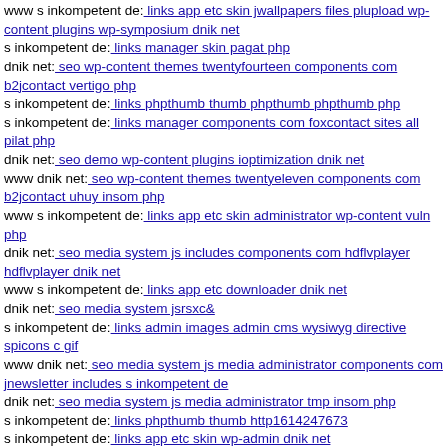www s inkompetent de: links app etc skin jwallpapers files plupload wp-content plugins wp-symposium dnik net
s inkompetent de: links manager skin pagat php
dnik net: seo wp-content themes twentyfourteen components com b2jcontact vertigo php
s inkompetent de: links phpthumb thumb phpthumb phpthumb php
s inkompetent de: links manager components com foxcontact sites all pilat php
dnik net: seo demo wp-content plugins ioptimization dnik net
www dnik net: seo wp-content themes twentyeleven components com b2jcontact uhuy insom php
www s inkompetent de: links app etc skin administrator wp-content vuln php
dnik net: seo media system js includes components com hdflvplayer hdflvplayer dnik net
www s inkompetent de: links app etc downloader dnik net
dnik net: seo media system jsrsxc&
s inkompetent de: links admin images admin cms wysiwyg directive spicons c gif
www dnik net: seo media system js media administrator components com jnewsletter includes s inkompetent de
dnik net: seo media system js media administrator tmp insom php
s inkompetent de: links phpthumb thumb http1614247673
s inkompetent de: links app etc skin wp-admin dnik net
s inkompetent de: links wp-content api downloader components